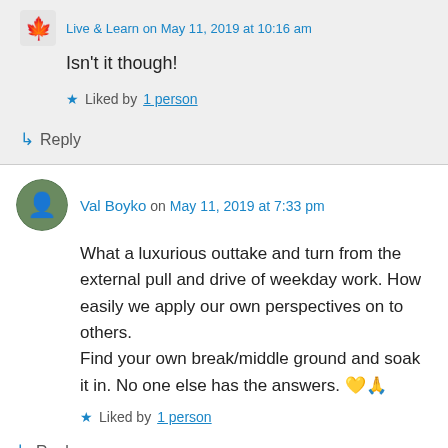Isn't it though!
Liked by 1 person
Reply
Val Boyko on May 11, 2019 at 7:33 pm
What a luxurious outtake and turn from the external pull and drive of weekday work. How easily we apply our own perspectives on to others.
Find your own break/middle ground and soak it in. No one else has the answers. 💛🙏
Liked by 1 person
Reply